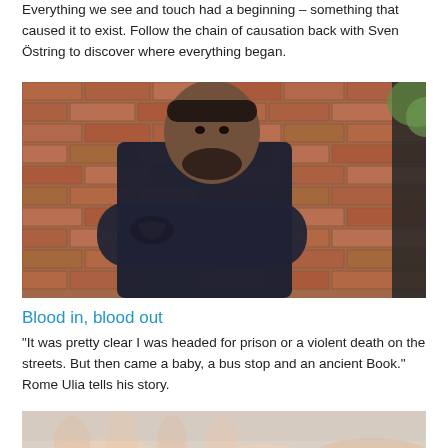Everything we see and touch had a beginning – something that caused it to exist. Follow the chain of causation back with Sven Östring to discover where everything began.
[Figure (photo): A man with tattoos and a beard, arms crossed, leaning against a brick wall, wearing a dark t-shirt.]
Blood in, blood out
"It was pretty clear I was headed for prison or a violent death on the streets. But then came a baby, a bus stop and an ancient Book." Rome Ulia tells his story.
[Figure (photo): Close-up photo of hands, partially visible at bottom of page.]